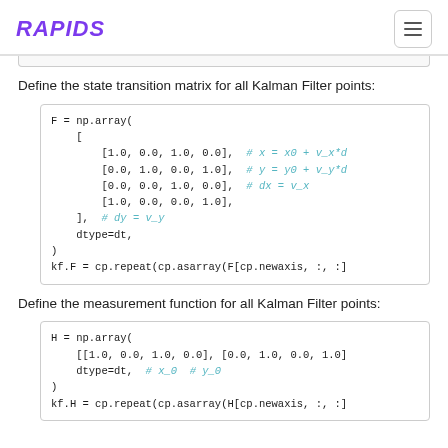RAPIDS
Define the state transition matrix for all Kalman Filter points:
[Figure (screenshot): Code block showing F = np.array([...]) definition with Kalman filter state transition matrix and kf.F = cp.repeat(cp.asarray(F[cp.newaxis, :, :]]
Define the measurement function for all Kalman Filter points:
[Figure (screenshot): Code block showing H = np.array([[1.0, 0.0, 1.0, 0.0], [0.0, 1.0, 0.0, 1.0]], dtype=dt, # x_0 # y_0) and kf.H = cp.repeat(cp.asarray(H[cp.newaxis, :, :]]